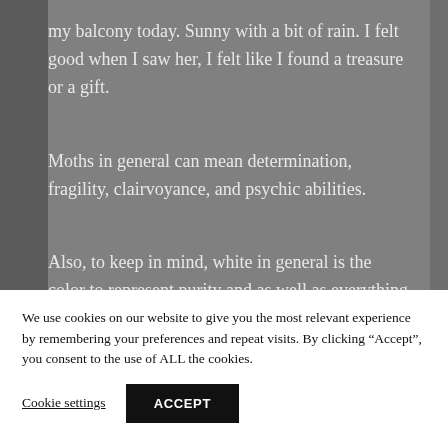my balcony today. Sunny with a bit of rain. I felt good when I saw her, I felt like I found a treasure or a gift.
Moths in general can mean determination, fragility, clairvoyance, and psychic abilities.
Also, to keep in mind, white in general is the color to represent purity and as well as everything (all colors of light add up to white). And the damaged wing would play a role in its meaning as well.
We use cookies on our website to give you the most relevant experience by remembering your preferences and repeat visits. By clicking “Accept”, you consent to the use of ALL the cookies.